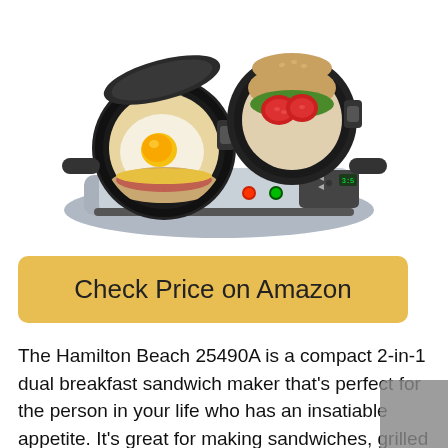[Figure (photo): Hamilton Beach 25490A dual breakfast sandwich maker appliance, silver and black, open showing egg and sandwich ingredients being cooked, with indicator lights and timer display on front panel.]
Check Price on Amazon
The Hamilton Beach 25490A is a compact 2-in-1 dual breakfast sandwich maker that’s perfect for the person in your life who has an insatiable appetite. It’s great for making sandwiches, grilled cheese, or paninis, and is